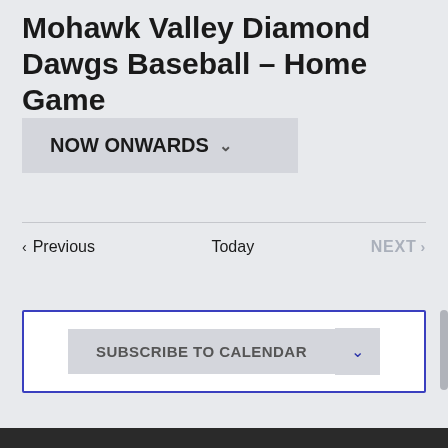Mohawk Valley Diamond Dawgs Baseball – Home Game
NOW ONWARDS ∨
‹ Previous   Today   NEXT ›
SUBSCRIBE TO CALENDAR ∨